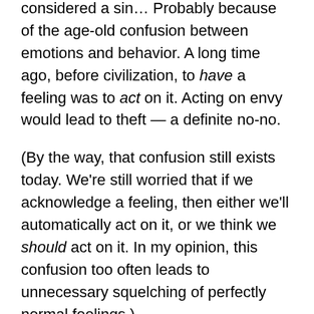considered a sin… Probably because of the age-old confusion between emotions and behavior. A long time ago, before civilization, to have a feeling was to act on it. Acting on envy would lead to theft — a definite no-no.
(By the way, that confusion still exists today. We're still worried that if we acknowledge a feeling, then either we'll automatically act on it, or we think we should act on it. In my opinion, this confusion too often leads to unnecessary squelching of perfectly normal feelings.)
Moving right along, jealousy is the fear that someone else will take, or has taken, what we have or deserve to have.